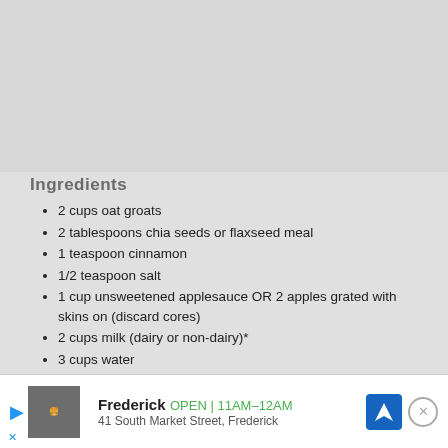[Figure (photo): Gray placeholder image area at the top of the page]
Ingredients
2 cups oat groats
2 tablespoons chia seeds or flaxseed meal
1 teaspoon cinnamon
1/2 teaspoon salt
1 cup unsweetened applesauce OR 2 apples grated with skins on (discard cores)
2 cups milk (dairy or non-dairy)*
3 cups water
optional sweetener: 1/4 cup brown sugar, maple syrup, or other preferred sweetener
Directions
Coat the inside of a 4-quart (or larger) slow cooker with cooking spray or oil. Add the groats, chia or flaxseed, cinnamon, and salt and give them [faded] the chia/fl[faded]ok.) Add the ap[faded]